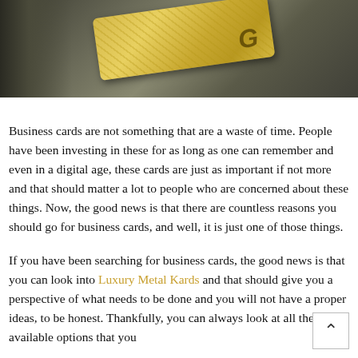[Figure (photo): Close-up photo of a gold metallic business card with geometric pattern and a stylized 'G' letter, resting on a dark textured surface with a chain visible on the left side.]
Business cards are not something that are a waste of time. People have been investing in these for as long as one can remember and even in a digital age, these cards are just as important if not more and that should matter a lot to people who are concerned about these things. Now, the good news is that there are countless reasons you should go for business cards, and well, it is just one of those things.
If you have been searching for business cards, the good news is that you can look into Luxury Metal Kards and that should give you a perspective of what needs to be done and you will not have a proper ideas, to be honest. Thankfully, you can always look at all the available options that you